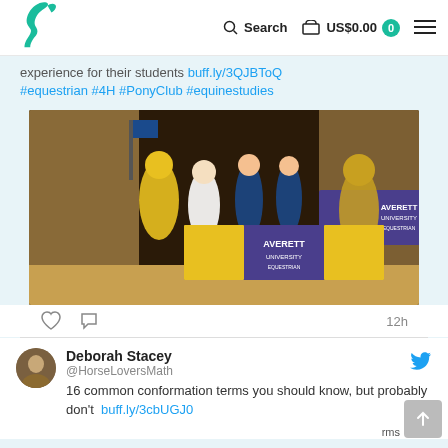Search  US$0.00  0
experience for their students buff.ly/3QJBToQ #equestrian #4H #PonyClub #equinestudies
[Figure (photo): Group of people in blue and yellow Averett University Equestrian attire, holding a banner that reads Averett University Equestrian, inside a barn or arena.]
12h
Deborah Stacey @HorseLoversMath
16 common conformation terms you should know, but probably don't  buff.ly/3cbUGJ0